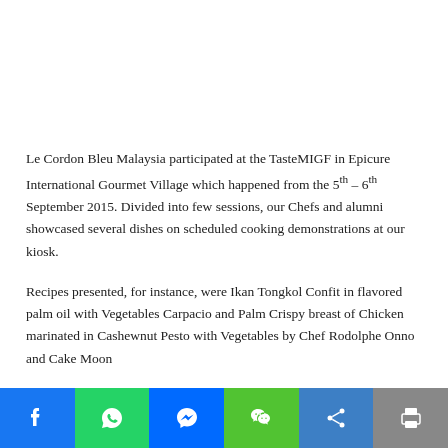Le Cordon Bleu Malaysia participated at the TasteMIGF in Epicure International Gourmet Village which happened from the 5th – 6th September 2015. Divided into few sessions, our Chefs and alumni showcased several dishes on scheduled cooking demonstrations at our kiosk.
Recipes presented, for instance, were Ikan Tongkol Confit in flavored palm oil with Vegetables Carpacio and Palm Crispy breast of Chicken marinated in Cashewnut Pesto with Vegetables by Chef Rodolphe Onno and Cake Moon…
[Figure (other): Social sharing bar with Facebook, WhatsApp, Messenger, WeChat, Share, and Print buttons]